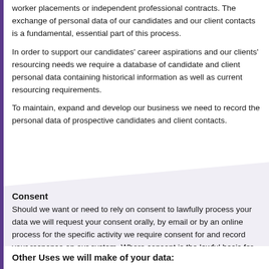worker placements or independent professional contracts. The exchange of personal data of our candidates and our client contacts is a fundamental, essential part of this process.
In order to support our candidates' career aspirations and our clients' resourcing needs we require a database of candidate and client personal data containing historical information as well as current resourcing requirements.
To maintain, expand and develop our business we need to record the personal data of prospective candidates and client contacts.
Consent
Should we want or need to rely on consent to lawfully process your data we will request your consent orally, by email or by an online process for the specific activity we require consent for and record your response on our system. Where consent is the lawful basis for our processing you have the right to withdraw your consent to this particular processing at any time.
Other Uses we will make of your data: